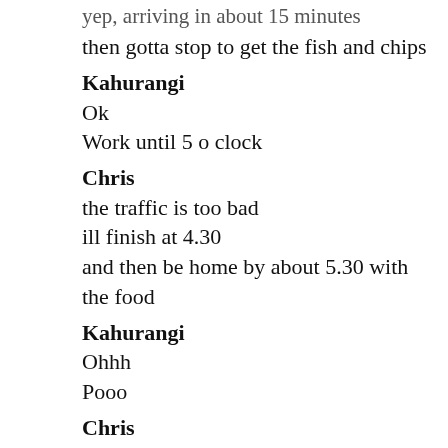yep, arriving in about 15 minutes
then gotta stop to get the fish and chips
Kahurangi
Ok
Work until 5 o clock
Chris
the traffic is too bad
ill finish at 4.30
and then be home by about 5.30 with the food
Kahurangi
Ohhh
Pooo
Chris
?
Kahurangi
😂😂😂😂😂😂😂😂😂
Chris